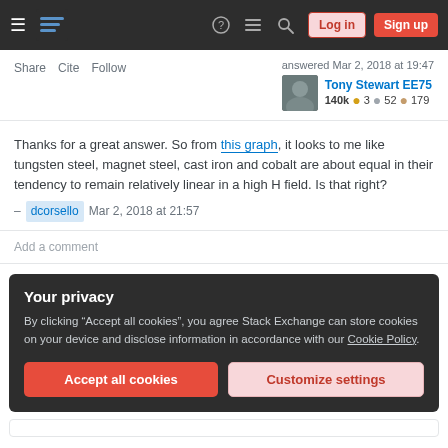Stack Exchange navigation header with hamburger menu, logo, help, chat, search icons, Log in and Sign up buttons
Share  Cite  Follow    answered Mar 2, 2018 at 19:47
Tony Stewart EE75
140k  3  52  179
Thanks for a great answer. So from this graph, it looks to me like tungsten steel, magnet steel, cast iron and cobalt are about equal in their tendency to remain relatively linear in a high H field. Is that right?
– dcorsello  Mar 2, 2018 at 21:57
Add a comment
Your privacy
By clicking "Accept all cookies", you agree Stack Exchange can store cookies on your device and disclose information in accordance with our Cookie Policy.
Accept all cookies    Customize settings